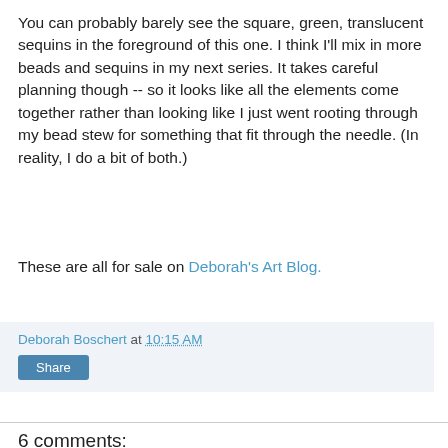You can probably barely see the square, green, translucent sequins in the foreground of this one. I think I'll mix in more beads and sequins in my next series. It takes careful planning though -- so it looks like all the elements come together rather than looking like I just went rooting through my bead stew for something that fit through the needle. (In reality, I do a bit of both.)
These are all for sale on Deborah's Art Blog.
Deborah Boschert at 10:15 AM
Share
6 comments:
Liz Plummer 4:26 PM
These are great - I love the way you've layered that purple see-through fabric.